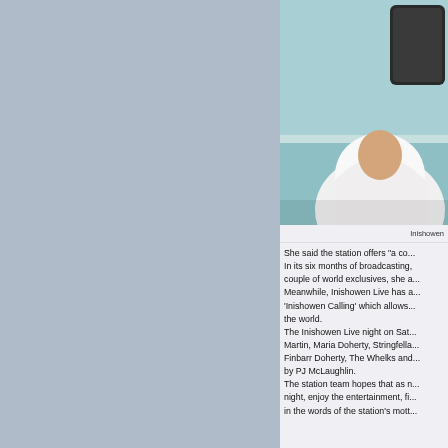[Figure (photo): Partial view of a person in a white shirt holding or near a dark smartphone, with a teal/light blue background and what appears to be an office or studio setting. The left portion of the image is cut off.]
Inishowen
She said the station offers "a co... In its six months of broadcasting, couple of world exclusives, she a... Meanwhile, Inishowen Live has a... 'Inishowen Calling' which allows... the world. The Inishowen Live night on Sat... Martin, Maria Doherty, Stringfella... Finbarr Doherty, The Whelks and... by PJ McLaughlin. The station team hopes that as n... night, enjoy the entertainment, fi... in the words of the station's mott...